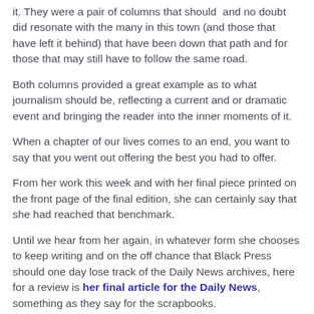it. They were a pair of columns that should and no doubt did resonate with the many in this town (and those that have left it behind) that have been down that path and for those that may still have to follow the same road.
Both columns provided a great example as to what journalism should be, reflecting a current and or dramatic event and bringing the reader into the inner moments of it.
When a chapter of our lives comes to an end, you want to say that you went out offering the best you had to offer.
From her work this week and with her final piece printed on the front page of the final edition, she can certainly say that she had reached that benchmark.
Until we hear from her again, in whatever form she chooses to keep writing and on the off chance that Black Press should one day lose track of the Daily News archives, here for a review is her final article for the Daily News, something as they say for the scrapbooks.